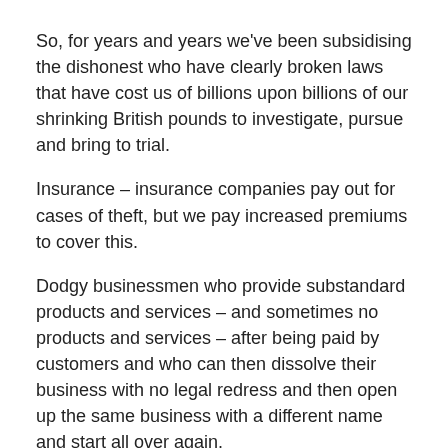So, for years and years we've been subsidising the dishonest who have clearly broken laws that have cost us of billions upon billions of our shrinking British pounds to investigate, pursue and bring to trial.
Insurance – insurance companies pay out for cases of theft, but we pay increased premiums to cover this.
Dodgy businessmen who provide substandard products and services – and sometimes no products and services – after being paid by customers and who can then dissolve their business with no legal redress and then open up the same business with a different name and start all over again.
And it's all perfectly 'legal' – with little protection for the consumer by the government.